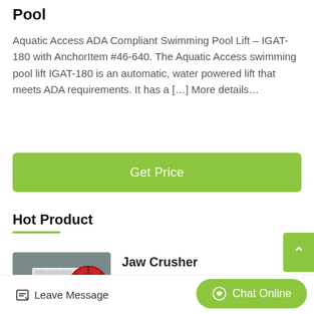Pool
Aquatic Access ADA Compliant Swimming Pool Lift – IGAT-180 with AnchorItem #46-640. The Aquatic Access swimming pool lift IGAT-180 is an automatic, water powered lift that meets ADA requirements. It has a […] More details…
[Figure (other): Green 'Get Price' button]
Hot Product
[Figure (photo): Photo of a white jaw crusher machine with a large red flywheel, in an industrial setting]
Jaw Crusher
Jaw crusher is a main type of rock crusher u
[Figure (other): Green scroll-up button with upward arrow]
Leave Message
Chat Online